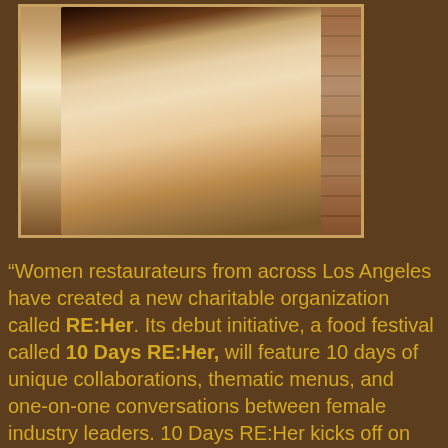[Figure (photo): Sepia-toned photograph of a woman, partially visible, with brick wall background]
“Women restaurateurs from across Los Angeles have created a new charitable organization called RE:Her. Its debut initiative, a food festival called 10 Days RE:Her, will feature 10 days of unique collaborations, thematic menus, and one-on-one conversations between female industry leaders. 10 Days RE:Her kicks off on January 21, the anniversary of the groundbreaking Women’s March of 2017, and runs through January 30. Over 100 restaurants and collaborators are involved. Observing local dining restrictions, aspects of the festival will